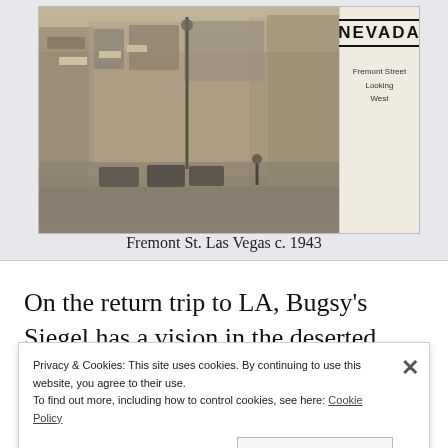[Figure (photo): Vintage postcard photograph of Fremont Street, Las Vegas, looking west, circa 1943. Black and white / sepia image showing storefronts, signs, parked cars, and pedestrians. Right side of postcard has 'NEVADA' printed vertically in bold with 'Fremont Street Looking West' text.]
Fremont St. Las Vegas c. 1943
On the return trip to LA, Bugsy's Siegel has a vision in the deserted desert of building an
Privacy & Cookies: This site uses cookies. By continuing to use this website, you agree to their use.
To find out more, including how to control cookies, see here: Cookie Policy
Close and accept